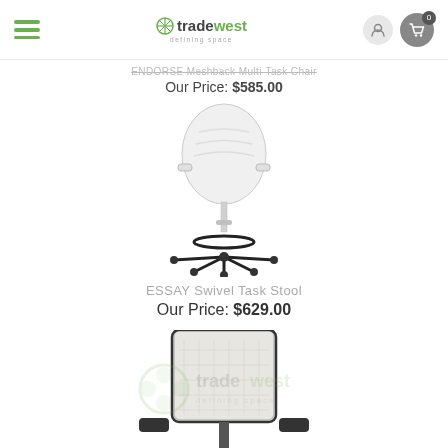tradewest — navigation header with hamburger menu, logo, user icon, and cart icon
ENDORSE Meshback Multi-Task Chair
Our Price: $585.00
[Figure (photo): ESSAY Swivel Task Stool — white molded seat with chrome stem, black ring footrest, and black five-star caster base]
ESSAY Swivel Task Stool
Our Price: $629.00
[Figure (photo): Partial view of an office chair with mesh back and armrests, with tradewest watermark overlay]